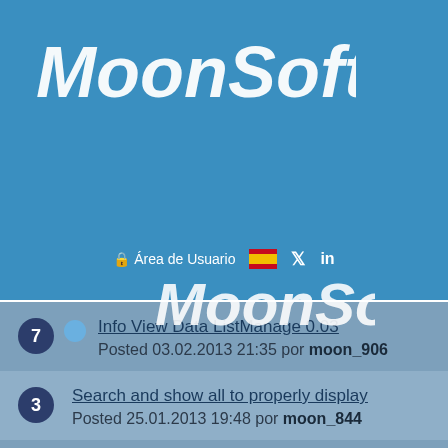[Figure (logo): MoonSoft logo in white handwritten/italic font on blue background header]
[Figure (screenshot): Navigation menu hamburger button, lock icon with Área de Usuario text, Spanish flag, Twitter and LinkedIn icons]
[Figure (logo): MoonSoft watermark logo overlaid on the page]
7 Info View Data ListManage 0.03 Posted 03.02.2013 21:35 por moon_906
3 Search and show all to properly display Posted 25.01.2013 19:48 por moon_844
2 No HTML editor in front-end Posted 28.01.2013 15:16 por moon_736
1 Order Posted 28.01.2013 14:50 por moon_880